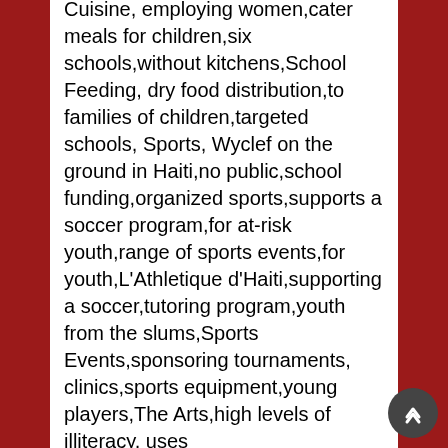Cuisine, employing women,cater meals for children,six schools,without kitchens,School Feeding, dry food distribution,to families of children,targeted schools, Sports, Wyclef on the ground in Haiti,no public,school funding,organized sports,supports a soccer program,for at-risk youth,range of sports events,for youth,L'Athletique d'Haiti,supporting a soccer,tutoring program,youth from the slums,Sports Events,sponsoring tournaments, clinics,sports equipment,young players,The Arts,high levels of illiteracy, uses music,entertainment,to inform the public,about development and social issues, while at the same time,providing training to at-risk youth, Celebrities,enlisted to help,raise the country's international profile, Music Studio,providing jobs,vocational training,a new state-of-the-art facility,Cité Soleil,National Youth Orchestra,classical,orchestral training,performance for at-risk youth,Art School,support for,art school in Jakmel, commissioning students,design work abroad,Remember Haiti, scanning, available,rare historic books,about Haiti's founding,Spotlight Haiti, engaging celebrities,to help